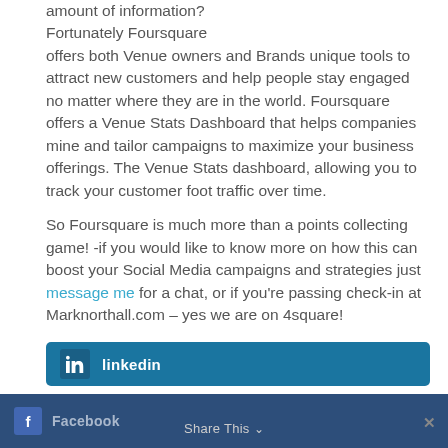amount of information? Fortunately Foursquare offers both Venue owners and Brands unique tools to attract new customers and help people stay engaged no matter where they are in the world. Foursquare offers a Venue Stats Dashboard that helps companies mine and tailor campaigns to maximize your business offerings. The Venue Stats dashboard, allowing you to track your customer foot traffic over time.
So Foursquare is much more than a points collecting game! -if you would like to know more on how this can boost your Social Media campaigns and strategies just message me for a chat, or if you're passing check-in at Marknorthall.com – yes we are on 4square!
[Figure (other): LinkedIn share button bar with LinkedIn logo icon and text 'linkedin' on blue background]
[Figure (other): Facebook share bar with Facebook icon, 'Facebook' text, 'Share This' dropdown label, and close X button]